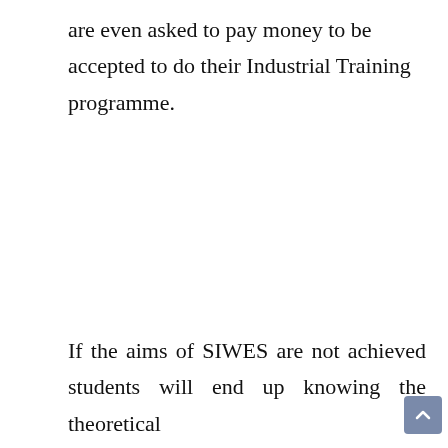are even asked to pay money to be accepted to do their Industrial Training programme.
If the aims of SIWES are not achieved students will end up knowing the theoretical